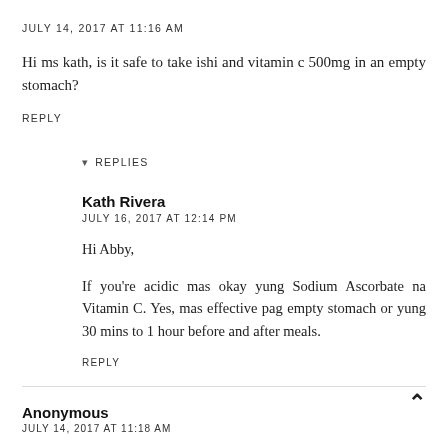JULY 14, 2017 AT 11:16 AM
Hi ms kath, is it safe to take ishi and vitamin c 500mg in an empty stomach?
REPLY
▾ REPLIES
Kath Rivera
JULY 16, 2017 AT 12:14 PM
Hi Abby,
If you're acidic mas okay yung Sodium Ascorbate na Vitamin C. Yes, mas effective pag empty stomach or yung 30 mins to 1 hour before and after meals.
REPLY
Anonymous
JULY 14, 2017 AT 11:18 AM